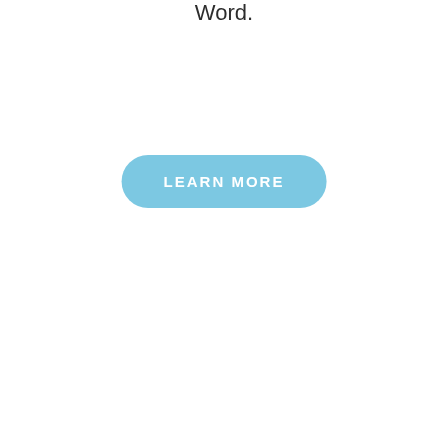Word.
[Figure (other): A rounded rectangular button with light blue background and white uppercase text reading 'LEARN MORE']